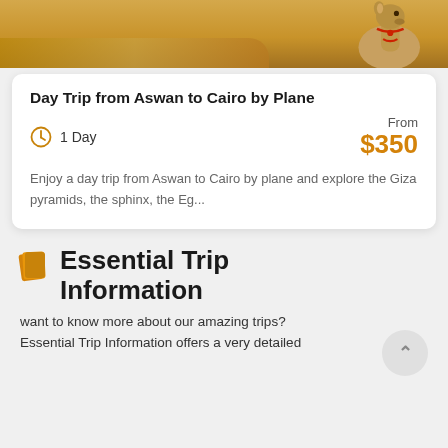[Figure (photo): Photo of a camel with red harness in a desert sandy landscape, cropped at top showing the camel's head and neck area]
Day Trip from Aswan to Cairo by Plane
1 Day
From $350
Enjoy a day trip from Aswan to Cairo by plane and explore the Giza pyramids, the sphinx, the Eg...
Essential Trip Information
want to know more about our amazing trips? Essential Trip Information offers a very detailed